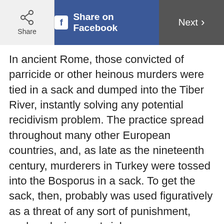Share | Share on Facebook | Next
In ancient Rome, those convicted of parricide or other heinous murders were tied in a sack and dumped into the Tiber River, instantly solving any potential recidivism problem. The practice spread throughout many other European countries, and, as late as the nineteenth century, murderers in Turkey were tossed into the Bosporus in a sack. To get the sack, then, probably was used figuratively as a threat of any sort of punishment, such as losing one’s job.
Another theory to explain how “get the sack” was recorded—as early as 1611 in France—is that it referred to craftsmen of the Middle Ages. Artisans carried their tools in sacks; while they worked, they